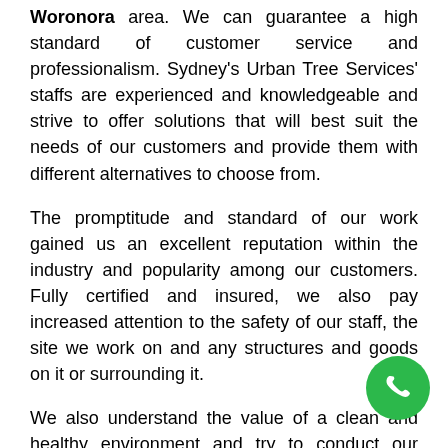Woronora area. We can guarantee a high standard of customer service and professionalism. Sydney's Urban Tree Services' staffs are experienced and knowledgeable and strive to offer solutions that will best suit the needs of our customers and provide them with different alternatives to choose from.
The promptitude and standard of our work gained us an excellent reputation within the industry and popularity among our customers. Fully certified and insured, we also pay increased attention to the safety of our staff, the site we work on and any structures and goods on it or surrounding it.
We also understand the value of a clean and healthy environment and try to conduct our services and offer solutions that are as environmentally friendly as possible.
The tree services we provide include: